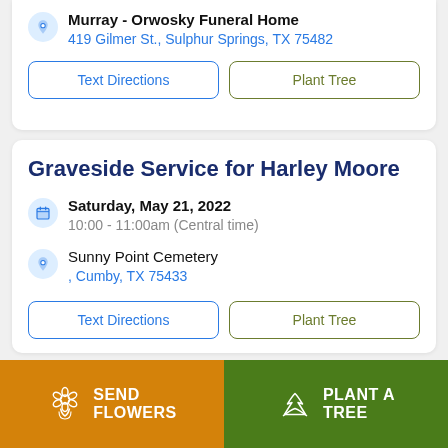Murray - Orwosky Funeral Home
419 Gilmer St., Sulphur Springs, TX 75482
Text Directions
Plant Tree
Graveside Service for Harley Moore
Saturday, May 21, 2022
10:00 - 11:00am (Central time)
Sunny Point Cemetery
, Cumby, TX 75433
Text Directions
Plant Tree
SEND FLOWERS
PLANT A TREE